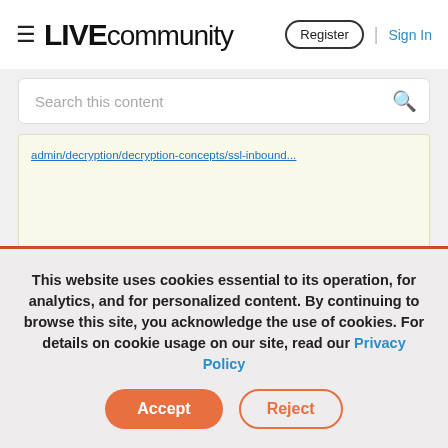LIVE community | Register | Sign In
Search this content
admin/decryption/decryption-concepts/ssl-inbound...
This website uses cookies essential to its operation, for analytics, and for personalized content. By continuing to browse this site, you acknowledge the use of cookies. For details on cookie usage on our site, read our Privacy Policy
Accept  Reject